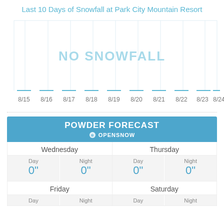Last 10 Days of Snowfall at Park City Mountain Resort
[Figure (bar-chart): Last 10 Days of Snowfall at Park City Mountain Resort]
POWDER FORECAST
OPENSNOW
|  | Wednesday | Thursday |
| --- | --- | --- |
| Day | 0" | 0" |
| Night | 0" | 0" |
|  | Friday | Saturday |
| --- | --- | --- |
| Day |  |  |
| Night |  |  |